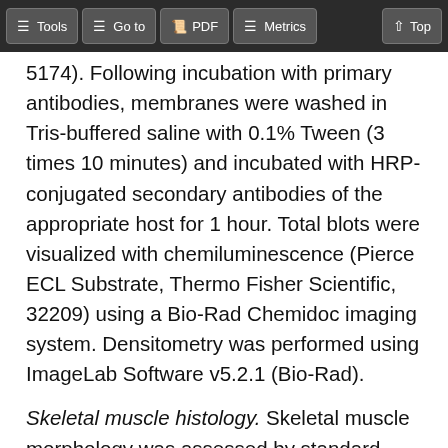Tools | Go to | PDF | Metrics | Top
5174). Following incubation with primary antibodies, membranes were washed in Tris-buffered saline with 0.1% Tween (3 times 10 minutes) and incubated with HRP-conjugated secondary antibodies of the appropriate host for 1 hour. Total blots were visualized with chemiluminescence (Pierce ECL Substrate, Thermo Fisher Scientific, 32209) using a Bio-Rad Chemidoc imaging system. Densitometry was performed using ImageLab Software v5.2.1 (Bio-Rad).
Skeletal muscle histology. Skeletal muscle morphology was assessed by standard light microscopy. Transverse sections (10 μm thick) from muscle biopsy samples of the gastrocnemius muscle frozen in liquid-nitrogen-cooled isopentane in OCT